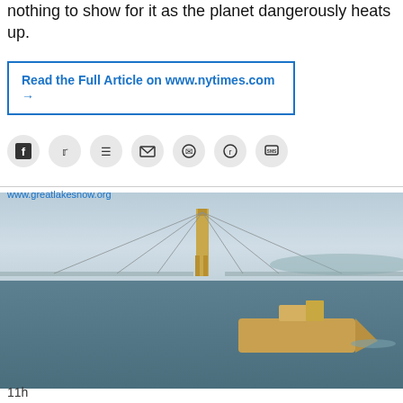nothing to show for it as the planet dangerously heats up.
Read the Full Article on www.nytimes.com →
[Figure (other): Social media share icons: Facebook, Twitter, Pinterest, Email, WhatsApp, Reddit, SMS]
[Figure (photo): Aerial photograph of a large cargo ship passing under a suspension bridge (Mackinac Bridge) over a wide body of water.]
www.greatlakesnow.org
11h